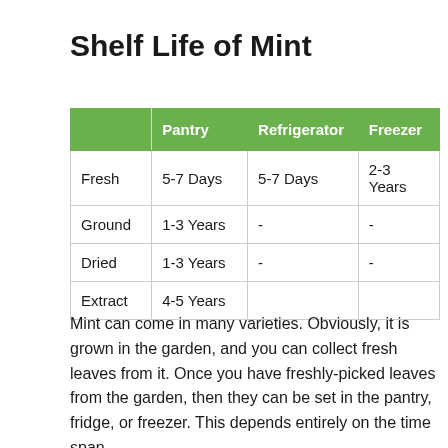Shelf Life of Mint
|  | Pantry | Refrigerator | Freezer |
| --- | --- | --- | --- |
| Fresh | 5-7 Days | 5-7 Days | 2-3 Years |
| Ground | 1-3 Years | - | - |
| Dried | 1-3 Years | - | - |
| Extract | 4-5 Years |  |  |
Mint can come in many varieties. Obviously, it is grown in the garden, and you can collect fresh leaves from it. Once you have freshly-picked leaves from the garden, then they can be set in the pantry, fridge, or freezer. This depends entirely on the time span...